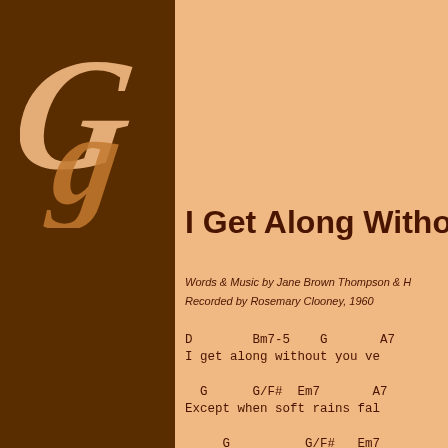[Figure (logo): GG logo in italic serif letters on dark brown background]
I Get Along Witho
Words & Music by Jane Brown Thompson & H...
Recorded by Rosemary Clooney, 1960
D        Bm7-5    G       A7
I get along without you ve

  G      G/F#  Em7       A7
Except when soft rains fal

     G           G/F#   Em7
The thrill of being shelte

     G                  F7